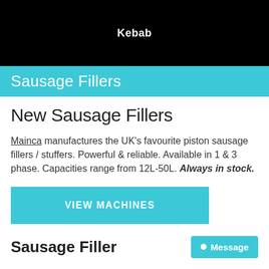Kebab
Sausage Fillers
New Sausage Fillers
Mainca manufactures the UK's favourite piston sausage fillers / stuffers. Powerful & reliable. Available in 1 & 3 phase. Capacities range from 12L-50L. Always in stock.
VIEW MACHINES
Sausage Filler
Message